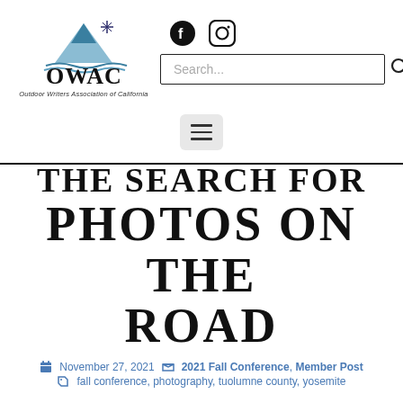[Figure (logo): OWAC logo with mountain, water, star, and text 'Outdoor Writers Association of California']
THE SEARCH FOR PHOTOS ON THE ROAD
November 27, 2021  2021 Fall Conference, Member Post  fall conference, photography, tuolumne county, yosemite